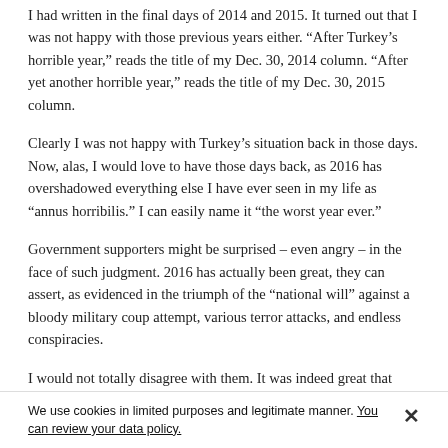I had written in the final days of 2014 and 2015. It turned out that I was not happy with those previous years either. “After Turkey’s horrible year,” reads the title of my Dec. 30, 2014 column. “After yet another horrible year,” reads the title of my Dec. 30, 2015 column.
Clearly I was not happy with Turkey’s situation back in those days. Now, alas, I would love to have those days back, as 2016 has overshadowed everything else I have ever seen in my life as “annus horribilis.” I can easily name it “the worst year ever.”
Government supporters might be surprised – even angry – in the face of such judgment. 2016 has actually been great, they can assert, as evidenced in the triumph of the “national will” against a bloody military coup attempt, various terror attacks, and endless conspiracies.
I would not totally disagree with them. It was indeed great that Turkey averted a brutal military coup attempt on the night of July 15. The common people indeed wrote a story of heroism by resisting the tanks and guns with their bodies. Some of them indeed became “martyrs” that we should always honor.
We use cookies in limited purposes and legitimate manner. You can review your data policy.